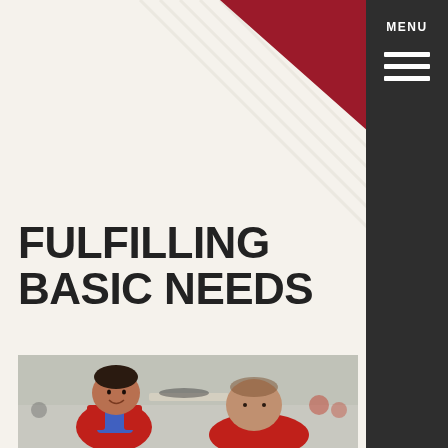TJX®
MENU
FULFILLING BASIC NEEDS
[Figure (photo): A young boy in a red and blue jacket smiling at a middle-aged man wearing a red TJX volunteer shirt, at what appears to be a coat or clothing donation event in a gymnasium setting.]